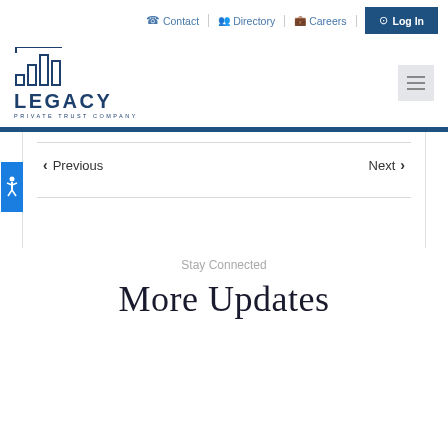Contact | Directory | Careers | Log In
[Figure (logo): Legacy Private Trust Company logo with bar chart icon and text]
Previous
Next
Stay Connected
More Updates